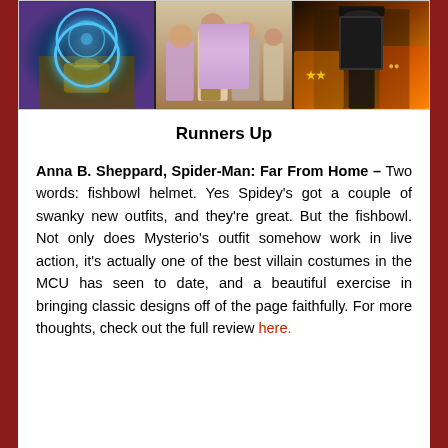[Figure (photo): Three movie stills side by side: left shows a character in a gold and blue glowing fishbowl helmet costume (Mysterio from Spider-Man: Far From Home), middle shows women in period Victorian dresses carrying baskets outdoors, right shows a man in a black suit and hat at what appears to be a colorful fair or festival.]
Runners Up
Anna B. Sheppard, Spider-Man: Far From Home – Two words: fishbowl helmet. Yes Spidey's got a couple of swanky new outfits, and they're great. But the fishbowl. Not only does Mysterio's outfit somehow work in live action, it's actually one of the best villain costumes in the MCU has seen to date, and a beautiful exercise in bringing classic designs off of the page faithfully. For more thoughts, check out the full review here.